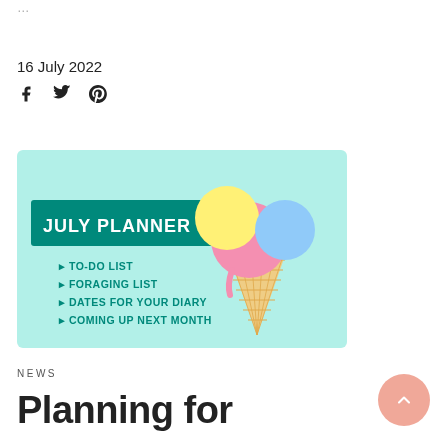...
16 July 2022
[Figure (illustration): July Planner promotional image with light blue background, teal banner reading JULY PLANNER, an ice cream cone with pink, yellow, and blue scoops, and bullet list items: TO-DO LIST, FORAGING LIST, DATES FOR YOUR DIARY, COMING UP NEXT MONTH]
NEWS
Planning for